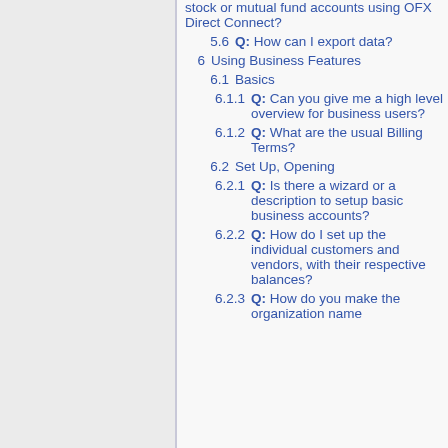stock or mutual fund accounts using OFX Direct Connect?
5.6 Q: How can I export data?
6 Using Business Features
6.1 Basics
6.1.1 Q: Can you give me a high level overview for business users?
6.1.2 Q: What are the usual Billing Terms?
6.2 Set Up, Opening
6.2.1 Q: Is there a wizard or a description to setup basic business accounts?
6.2.2 Q: How do I set up the individual customers and vendors, with their respective balances?
6.2.3 Q: How do you make the organization name